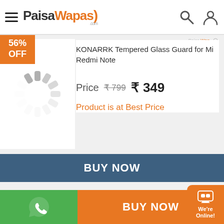[Figure (logo): PaisaWapas.com logo with hamburger menu icon, search icon, and user account icon]
56% OFF
[Figure (illustration): Loading spinner / circular progress indicator]
KONARRK Tempered Glass Guard for Mi Redmi Note
Price  ₹799  ₹ 349
Product is at Best Price
BUY NOW
MORE PRODUCTS FROM THIS BRAND
BUY NOW
We're Online!